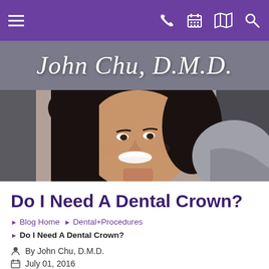Navigation bar with hamburger menu and icons (phone, calendar, map, search)
[Figure (logo): John Chu, D.M.D. script logo on grey banner]
[Figure (photo): Smiling woman with dark hair, dental office context]
Do I Need A Dental Crown?
Blog Home » Dental+Procedures » Do I Need A Dental Crown?
By John Chu, D.M.D.
July 01, 2016
Category: Dental Procedures
Tags: Dental Crowns